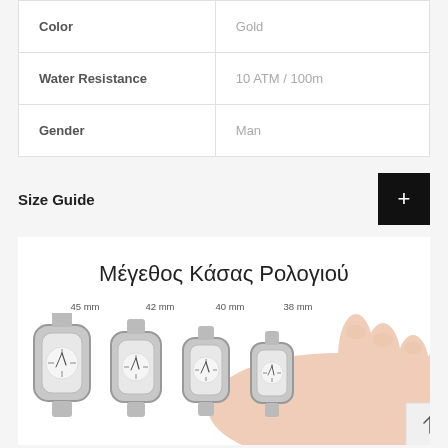| Color | Gold |
| Water Resistance | 10 ATM / 100m |
| Gender | Man |
Size Guide
[Figure (illustration): Watch case size guide illustration showing four watches of different sizes (45mm, 42mm, 40mm, 38mm) on a hand, with Greek title 'Μέγεθος Κάσας Ρολογιού']